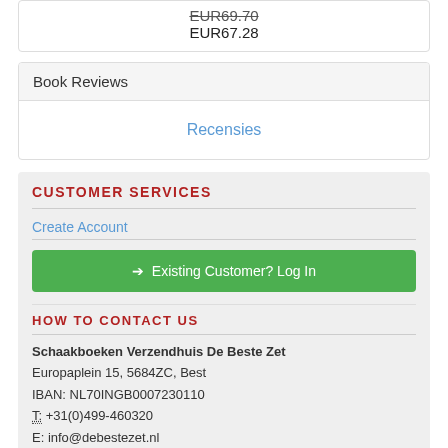EUR69.70 (strikethrough)
EUR67.28
Book Reviews
Recensies
CUSTOMER SERVICES
Create Account
➔ Existing Customer? Log In
HOW TO CONTACT US
Schaakboeken Verzendhuis De Beste Zet
Europaplein 15, 5684ZC, Best
IBAN: NL70INGB0007230110
T: +31(0)499-460320
E: info@debestezet.nl